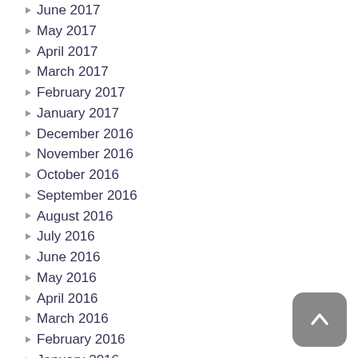June 2017
May 2017
April 2017
March 2017
February 2017
January 2017
December 2016
November 2016
October 2016
September 2016
August 2016
July 2016
June 2016
May 2016
April 2016
March 2016
February 2016
January 2016
December 2015
November 2015
October 2015
September 2015
August 2015